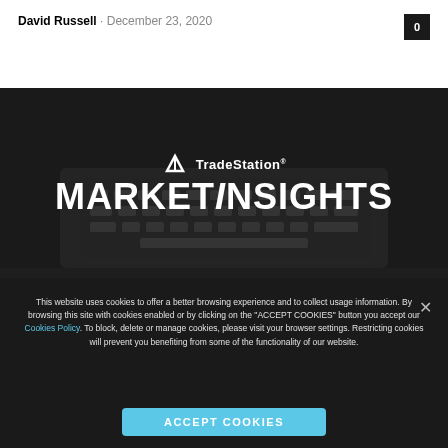David Russell · December 23, 2020
[Figure (screenshot): TradeStation Market Insights banner with logo and text on dark background with laptop keyboard faintly visible]
This website uses cookies to offer a better browsing experience and to collect usage information. By browsing this site with cookies enabled or by clicking on the "ACCEPT COOKIES" button you accept our Cookies Policy. To block, delete or manage cookies, please visit your browser settings. Restricting cookies will prevent you benefiting from some of the functionality of our website.
ACCEPT COOKIES